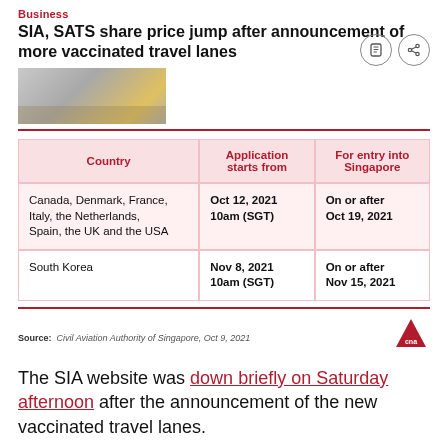Business
SIA, SATS share price jump after announcement of more vaccinated travel lanes
[Figure (photo): Photo of aircraft on tarmac]
| Country | Application starts from | For entry into Singapore |
| --- | --- | --- |
| Canada, Denmark, France, Italy, the Netherlands, Spain, the UK and the USA | Oct 12, 2021 10am (SGT) | On or after Oct 19, 2021 |
| South Korea | Nov 8, 2021 10am (SGT) | On or after Nov 15, 2021 |
Source: Civil Aviation Authority of Singapore, Oct 9, 2021
The SIA website was down briefly on Saturday afternoon after the announcement of the new vaccinated travel lanes.